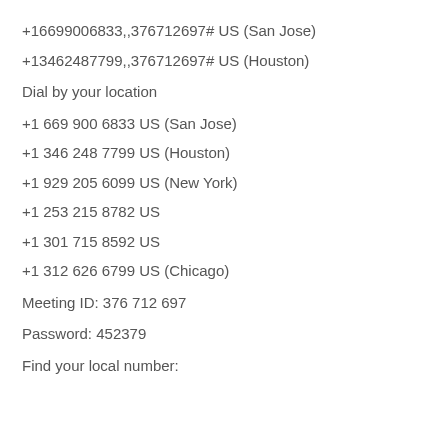+16699006833,,376712697# US (San Jose)
+13462487799,,376712697# US (Houston)
Dial by your location
+1 669 900 6833 US (San Jose)
+1 346 248 7799 US (Houston)
+1 929 205 6099 US (New York)
+1 253 215 8782 US
+1 301 715 8592 US
+1 312 626 6799 US (Chicago)
Meeting ID: 376 712 697
Password: 452379
Find your local number: